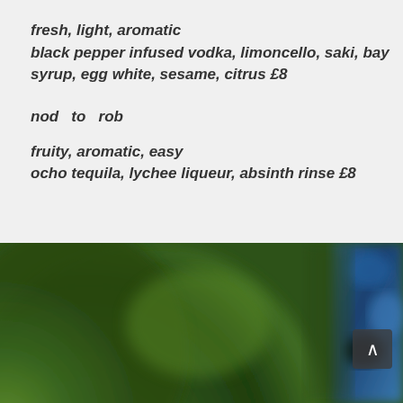fresh, light, aromatic
black pepper infused vodka, limoncello, saki, bay syrup, egg white, sesame, citrus £8
nod  to  rob
fruity, aromatic, easy
ocho tequila, lychee liqueur, absinth rinse £8
[Figure (photo): Blurred close-up photograph showing a large green circular object (possibly a lime or plant) on the left and blue textured surface (possibly a fish or fabric) on the right.]